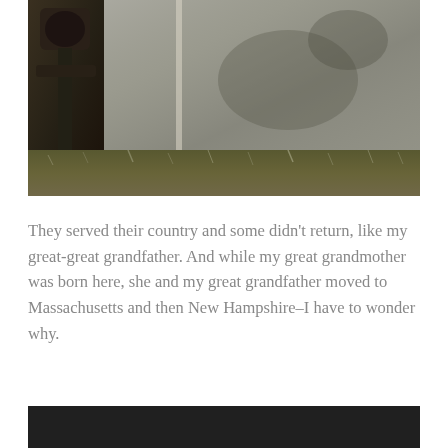[Figure (photo): Cemetery photograph showing gravestones: a dark ornate iron cross marker on the left and a large weathered granite headstone on the right, with frost-covered grass and ground vegetation at the base.]
They served their country and some didn't return, like my great-great grandfather. And while my great grandmother was born here, she and my great grandfather moved to Massachusetts and then New Hampshire–I have to wonder why.
[Figure (photo): Partial bottom photograph, dark and largely obscured, showing a dark scene.]